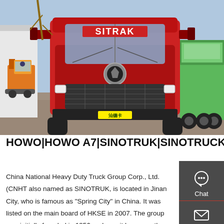[Figure (photo): Front view of a red SITRAK heavy duty truck parked in a yard, with green dump trucks visible on the right and forklifts on the left. Chinese license plate on the front bumper.]
HOWO|HOWO A7|SINOTRUK|SINOTRUCK|SINO ...
China National Heavy Duty Truck Group Corp., Ltd. (CNHT also named as SINOTRUK, is located in Jinan City, who is famous as "Spring City" in China. It was listed on the main board of HKSE in 2007. The group was initially founded in 1956 and now it becomes the cradle of China's heavy duty truck industry. The main products produced by SINOTRUK